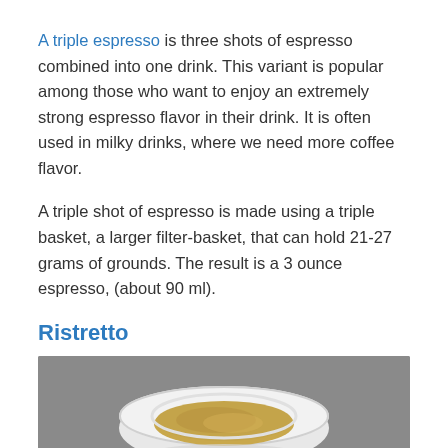A triple espresso is three shots of espresso combined into one drink. This variant is popular among those who want to enjoy an extremely strong espresso flavor in their drink. It is often used in milky drinks, where we need more coffee flavor.
A triple shot of espresso is made using a triple basket, a larger filter-basket, that can hold 21-27 grams of grounds. The result is a 3 ounce espresso, (about 90 ml).
Ristretto
[Figure (photo): A white espresso cup/bowl with a small amount of golden-brown espresso, photographed on a gray background, viewed from slightly above.]